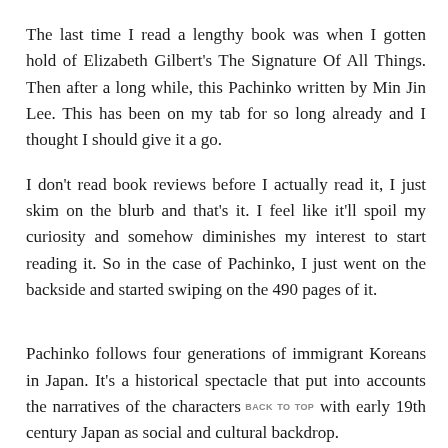The last time I read a lengthy book was when I gotten hold of Elizabeth Gilbert's The Signature Of All Things. Then after a long while, this Pachinko written by Min Jin Lee. This has been on my tab for so long already and I thought I should give it a go.
I don't read book reviews before I actually read it, I just skim on the blurb and that's it. I feel like it'll spoil my curiosity and somehow diminishes my interest to start reading it. So in the case of Pachinko, I just went on the backside and started swiping on the 490 pages of it.
Pachinko follows four generations of immigrant Koreans in Japan. It's a historical spectacle that put into accounts the narratives of the characters with early 19th century Japan as social and cultural backdrop.